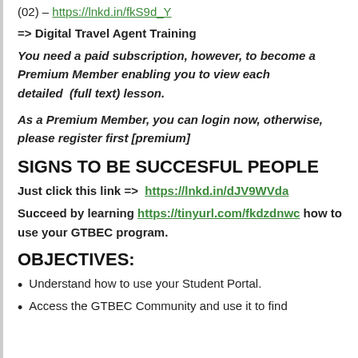(02) – https://lnkd.in/fkS9d_Y
=> Digital Travel Agent Training
You need a paid subscription, however, to become a Premium Member enabling you to view each detailed  (full text) lesson.
As a Premium Member, you can login now, otherwise, please register first [premium]
SIGNS TO BE SUCCESFUL PEOPLE
Just click this link =>  https://lnkd.in/dJV9WVda
Succeed by learning https://tinyurl.com/fkdzdnwc how to use your GTBEC program.
OBJECTIVES:
Understand how to use your Student Portal.
Access the GTBEC Community and use it to find